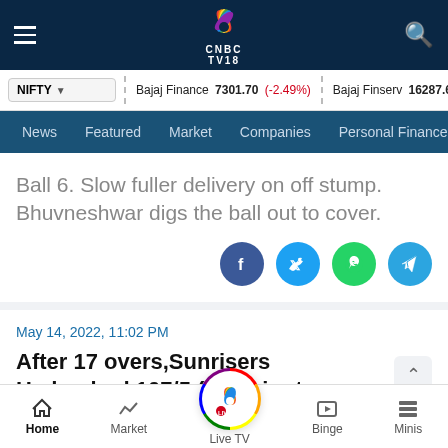CNBC TV18 navigation bar with hamburger menu and search
NIFTY | Bajaj Finance 7301.70 (-2.49%) | Bajaj Finserv 16287.60
News | Featured | Market | Companies | Personal Finance
Ball 6. Slow fuller delivery on off stump. Bhuvneshwar digs the ball out to cover.
May 14, 2022, 11:02 PM
After 17 overs,Sunrisers Hyderabad 107/5 (Washington Sundar 4 , Shashank Singh 6)
Home | Market | Live TV | Binge | Minis